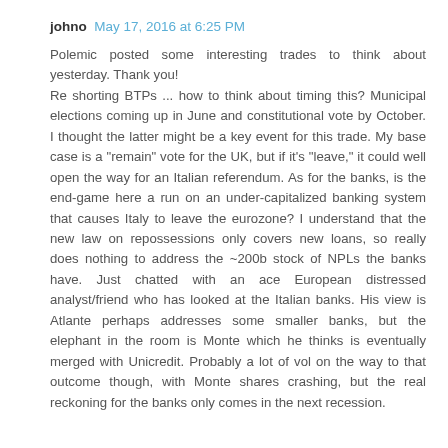johno May 17, 2016 at 6:25 PM
Polemic posted some interesting trades to think about yesterday. Thank you! Re shorting BTPs ... how to think about timing this? Municipal elections coming up in June and constitutional vote by October. I thought the latter might be a key event for this trade. My base case is a "remain" vote for the UK, but if it's "leave," it could well open the way for an Italian referendum. As for the banks, is the end-game here a run on an under-capitalized banking system that causes Italy to leave the eurozone? I understand that the new law on repossessions only covers new loans, so really does nothing to address the ~200b stock of NPLs the banks have. Just chatted with an ace European distressed analyst/friend who has looked at the Italian banks. His view is Atlante perhaps addresses some smaller banks, but the elephant in the room is Monte which he thinks is eventually merged with Unicredit. Probably a lot of vol on the way to that outcome though, with Monte shares crashing, but the real reckoning for the banks only comes in the next recession.